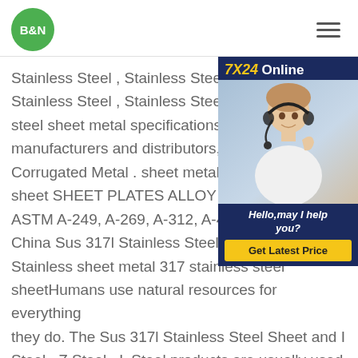B&N logo and navigation menu
Stainless Steel , Stainless Steel Alloy, A Stainless Steel , Stainless Steel alloys, steel sheet metal specifications from st manufacturers and distributors, Mecha Corrugated Metal . sheet metal 317 sta sheet SHEET PLATES ALLOY 317 UN ASTM A-249, A-269, A-312, A-409, A-4 China Sus 317l Stainless Steel Sheet, Sus 317 Stainless sheet metal 317 stainless steel sheetHumans use natural resources for everything they do. The Sus 317l Stainless Steel Sheet and I Steel , Z Steel , L Steel products are usually used to get more enegy for specific effects. For example, soil
[Figure (other): 7X24 Online chat widget with customer service representative photo and Get Latest Price button]